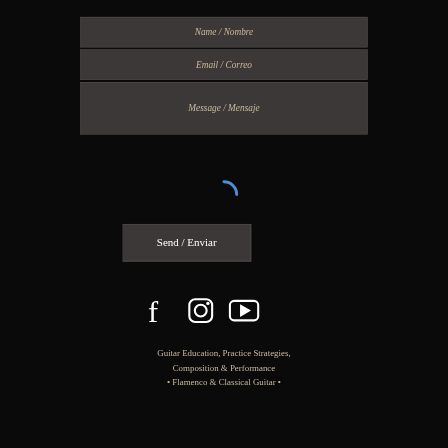Name / Nombre
Email / Correo
Message / Mensaje
[Figure (other): Blue spinning/loading arc indicator]
Send / Enviar
[Figure (other): Social media icons: Facebook, Instagram, YouTube]
Guitar Education, Practice Strategies, Composition & Performance • Flamenco & Classical Guitar •